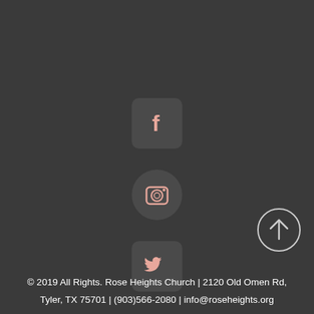[Figure (logo): Facebook icon - rounded square dark background with pink 'f' letter]
[Figure (logo): Instagram icon - circular dark background with pink camera icon]
[Figure (logo): Twitter icon - rounded square dark background with pink bird icon]
[Figure (illustration): Back to top button - circle with upward arrow]
© 2019 All Rights. Rose Heights Church | 2120 Old Omen Rd, Tyler, TX 75701 | (903)566-2080 | info@roseheights.org